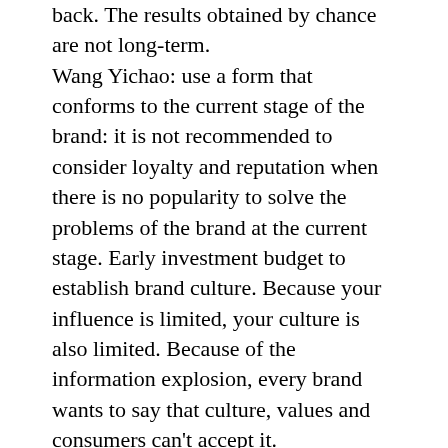back. The results obtained by chance are not long-term. Wang Yichao: use a form that conforms to the current stage of the brand: it is not recommended to consider loyalty and reputation when there is no popularity to solve the problems of the brand at the current stage. Early investment budget to establish brand culture. Because your influence is limited, your culture is also limited. Because of the information explosion, every brand wants to say that culture, values and consumers can't accept it. Use the marketing media within the company's resources: select the appropriate media according to the budget and make the